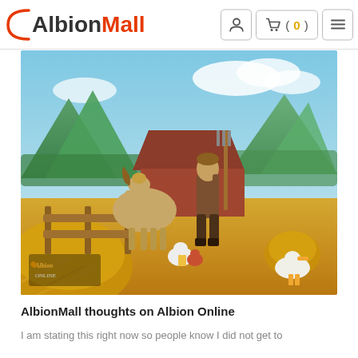AlbionMall
[Figure (screenshot): Albion Online game artwork showing a medieval fantasy farm scene with a male character holding a pitchfork, a horse, chickens, a goose, hay bales, wooden fence, and mountains in the background. The Albion Online logo is in the bottom left corner.]
AlbionMall thoughts on Albion Online
I am stating this right now so people know I did not get to